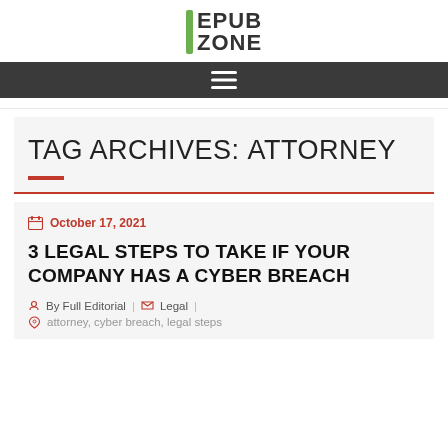EPUB ZONE
TAG ARCHIVES: ATTORNEY
October 17, 2021
3 LEGAL STEPS TO TAKE IF YOUR COMPANY HAS A CYBER BREACH
By Full Editorial | Legal | attorney, cyber breach, legal steps